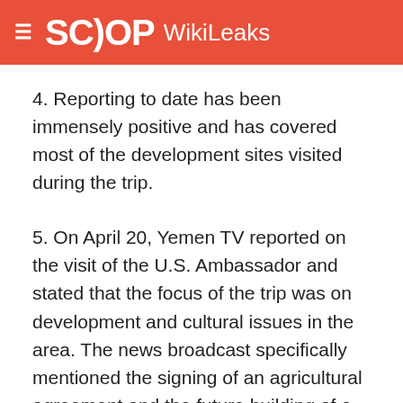SCOOP WikiLeaks
4. Reporting to date has been immensely positive and has covered most of the development sites visited during the trip.
5. On April 20, Yemen TV reported on the visit of the U.S. Ambassador and stated that the focus of the trip was on development and cultural issues in the area. The news broadcast specifically mentioned the signing of an agricultural agreement and the future building of a